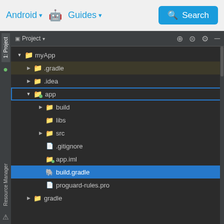[Figure (screenshot): Android Studio IDE screenshot showing a project file tree with myApp project expanded. The 'app' folder is highlighted with a blue outline box. The 'build.gradle' file is selected with a blue background. The file tree shows: .gradle, .idea, app (expanded with build, libs, src, .gitignore, app.iml, build.gradle, proguard-rules.pro), gradle. Top navigation shows Android, Guides links and a Search button.]